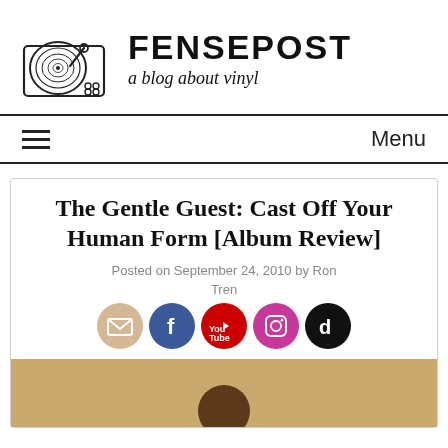[Figure (logo): Fensepost blog logo: a record player turntable illustration on the left, with 'FENSEPOST' in bold uppercase and 'a blog about vinyl' in italic script below]
Menu
The Gentle Guest: Cast Off Your Human Form [Album Review]
Posted on September 24, 2010 by Ron Tren...
[Figure (photo): Partial photo of a person's head visible at the bottom of the page, background is golden/tan colored]